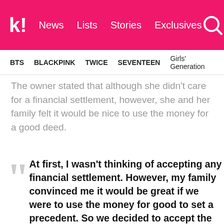k! News  Lists  Stories  Exclusives
BTS  BLACKPINK  TWICE  SEVENTEEN  Girls' Generation
The owner stated that although she didn't care for a financial settlement, however, she and her family felt it would be nice to use the money for a good deed.
At first, I wasn't thinking of accepting any financial settlement. However, my family convinced me it would be great if we were to use the money for good to set a precedent. So we decided to accept the settlement and donate it to charities working for the well-being of animals.